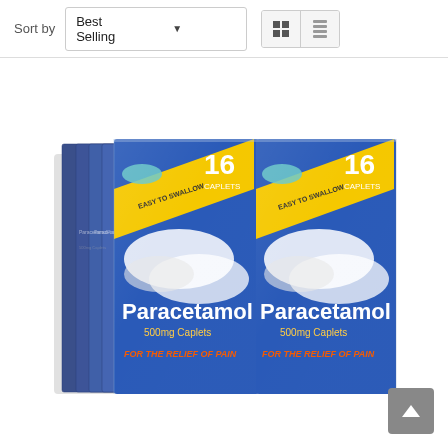Sort by  Best Selling
[Figure (photo): Bulk pack of Paracetamol 500mg Caplets boxes — multiple blue boxes wrapped in clear plastic shrink-wrap. Each box shows '16 Caplets', 'Easy to Swallow', 'Paracetamol 500mg Caplets', 'FOR THE RELIEF OF PAIN' in orange italic text, with a yellow diagonal banner.]